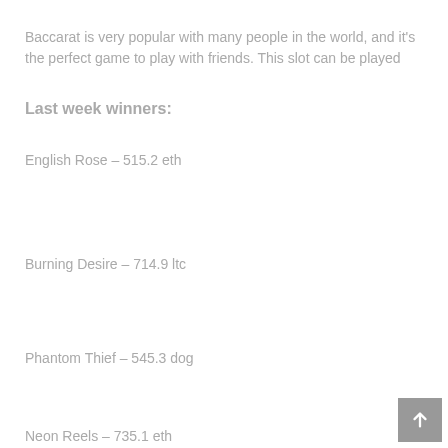Baccarat is very popular with many people in the world, and it's the perfect game to play with friends. This slot can be played
Last week winners:
English Rose – 515.2 eth
Burning Desire – 714.9 ltc
Phantom Thief – 545.3 dog
Neon Reels – 735.1 eth